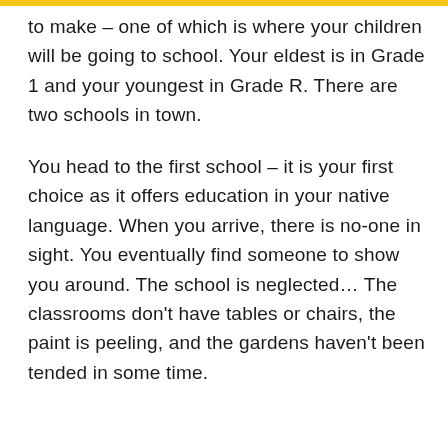to make – one of which is where your children will be going to school. Your eldest is in Grade 1 and your youngest in Grade R. There are two schools in town.
You head to the first school – it is your first choice as it offers education in your native language. When you arrive, there is no-one in sight. You eventually find someone to show you around. The school is neglected… The classrooms don't have tables or chairs, the paint is peeling, and the gardens haven't been tended in some time.